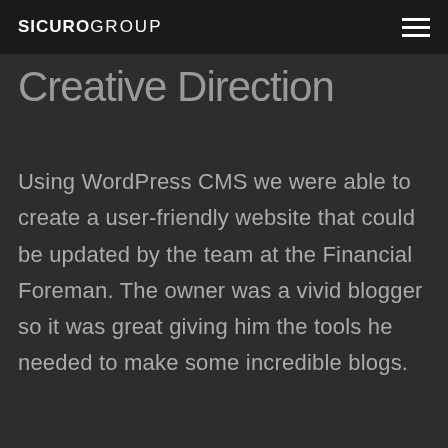SICUROGROUP
Creative Direction
Using WordPress CMS we were able to create a user-friendly website that could be updated by the team at the Financial Foreman. The owner was a vivid blogger so it was great giving him the tools he needed to make some incredible blogs.